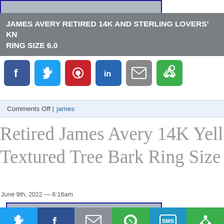[Figure (other): Partial image with blue border, clipped at top]
JAMES AVERY RETIRED 14K AND STERLING LOVERS' KNOT RING SIZE 6.0
[Figure (other): Social share buttons: Facebook, Twitter, Pinterest, LinkedIn, Email, More Options]
Comments Off | james
Retired James Avery 14K Yellow Gold Textured Tree Bark Ring Size 8
June 9th, 2022 — 6:16am
[Figure (other): Partial image with blue border at bottom]
[Figure (other): Bottom share bar: Twitter, Facebook, Email, WhatsApp, SMS, More Options]